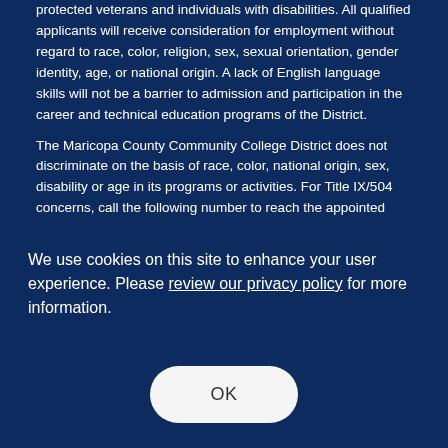protected veterans and individuals with disabilities. All qualified applicants will receive consideration for employment without regard to race, color, religion, sex, sexual orientation, gender identity, age, or national origin. A lack of English language skills will not be a barrier to admission and participation in the career and technical education programs of the District.
The Maricopa County Community College District does not discriminate on the basis of race, color, national origin, sex, disability or age in its programs or activities. For Title IX/504 concerns, call the following number to reach the appointed
We use cookies on this site to enhance your user experience. Please review our privacy policy for more information.
OK